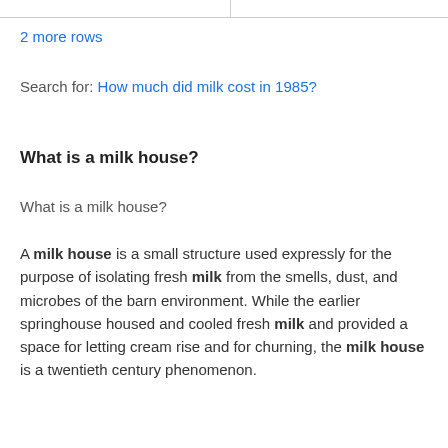|  |
2 more rows
Search for: How much did milk cost in 1985?
What is a milk house?
What is a milk house?
A milk house is a small structure used expressly for the purpose of isolating fresh milk from the smells, dust, and microbes of the barn environment. While the earlier springhouse housed and cooled fresh milk and provided a space for letting cream rise and for churning, the milk house is a twentieth century phenomenon.